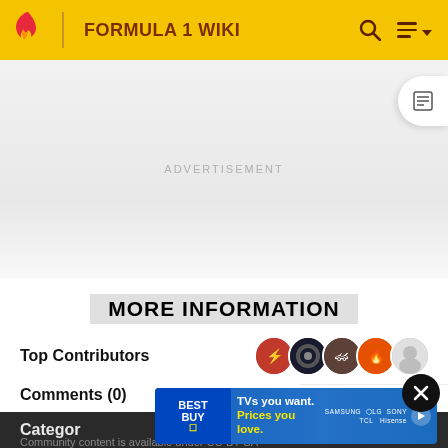FORMULA 1 WIKI
[Figure (other): Advertisement placeholder area with gray background]
MORE INFORMATION
Top Contributors
Comments (0)
Categories
[Figure (other): Best Buy advertisement banner: TVs you want. Prices you love. Samsung LG Sony TCL Hisense]
Community content is available under CC-BY-SA